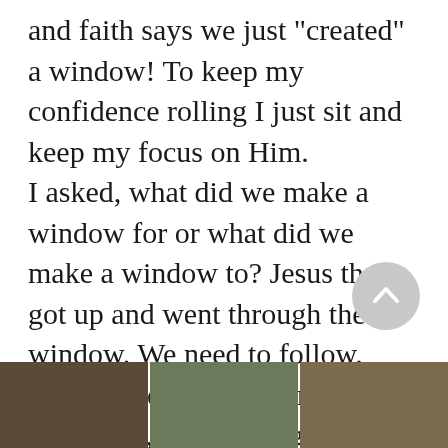and faith says we just "created" a window! To keep my confidence rolling I just sit and keep my focus on Him.
I asked, what did we make a window for or what did we make a window to? Jesus then got up and went through the window. We need to follow. Next scene. Here we are, Jesus, my friend, and I sitting on top of the window.
[Figure (photo): Three thumbnail photos in a horizontal strip at the bottom of the page]